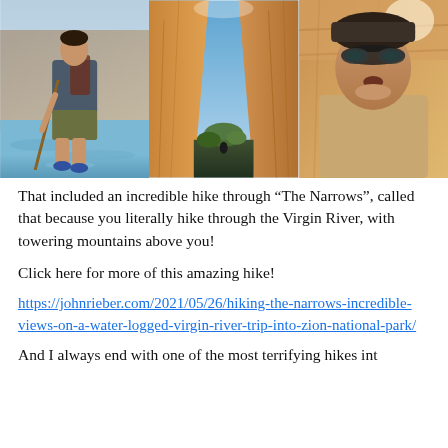[Figure (photo): Three side-by-side photos of hiking The Narrows: left shows a man wading through a river with a walking stick; center shows a narrow canyon slot with green vegetation; right shows an upward selfie view of a person in a canyon.]
That included an incredible hike through “The Narrows”, called that because you literally hike through the Virgin River, with towering mountains above you!
Click here for more of this amazing hike!
https://johnrieber.com/2021/05/26/hiking-the-narrows-incredible-views-on-a-water-logged-virgin-river-trip-into-zion-national-park/
And I always end with one of the most terrifying hikes int